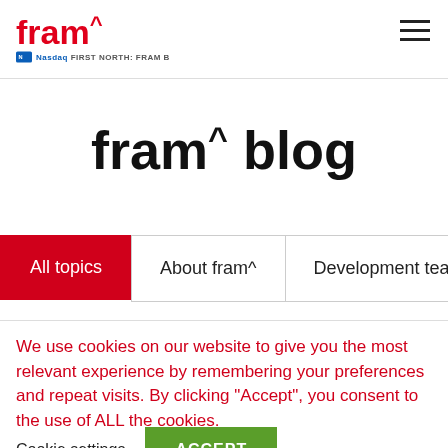fram^ | Nasdaq FIRST NORTH: FRAM B
fram^ blog
All topics
About fram^
Development team
We use cookies on our website to give you the most relevant experience by remembering your preferences and repeat visits. By clicking "Accept", you consent to the use of ALL the cookies.
Cookie settings | ACCEPT